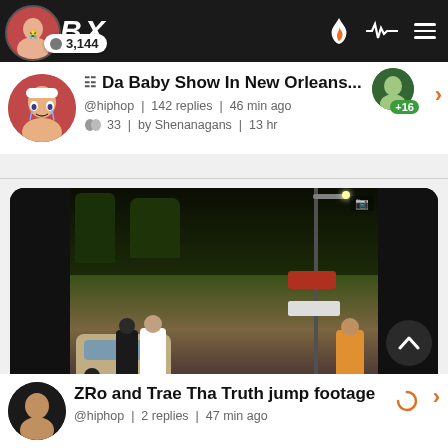BX — navigation bar with flame, pulse, and menu icons
3,144
Da Baby Show In New Orleans...
@hiphop | 142 replies | 46 min ago
33 | by Shenanagans | 13 hr
[Figure (photo): Outdoor night scene video thumbnail showing people on a street, a car, streetlights, trees, and a red sign in the background]
ZRo and Trae Tha Truth jump footage
@hiphop | 2 replies | 47 min ago